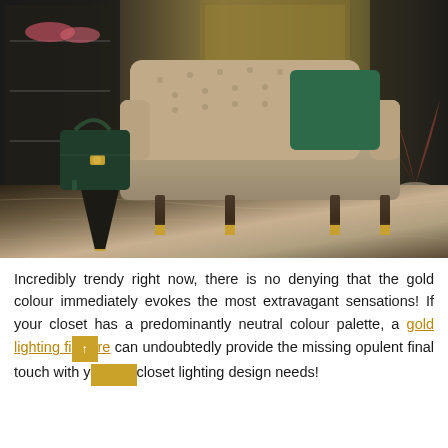[Figure (photo): Luxury interior scene showing a tufted beige/taupe sofa with a dark green velvet cushion, a geometric black and gold side table with a dark green designer handbag, and a potted plant in the background, set on a marbled floor with dark gold-toned wall panels.]
Incredibly trendy right now, there is no denying that the gold colour immediately evokes the most extravagant sensations! If your closet has a predominantly neutral colour palette, a gold lighting fixture can undoubtedly provide the missing opulent final touch with your closet lighting design needs!